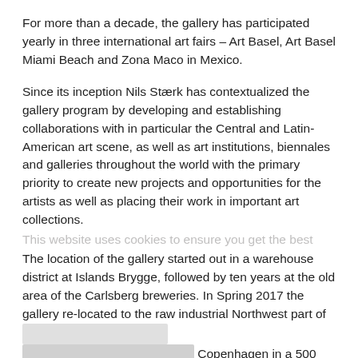For more than a decade, the gallery has participated yearly in three international art fairs – Art Basel, Art Basel Miami Beach and Zona Maco in Mexico.
Since its inception Nils Stærk has contextualized the gallery program by developing and establishing collaborations with in particular the Central and Latin-American art scene, as well as art institutions, biennales and galleries throughout the world with the primary priority to create new projects and opportunities for the artists as well as placing their work in important art collections.
This website uses cookies to ensure you get the best
The location of the gallery started out in a warehouse district at Islands Brygge, followed by ten years at the old area of the Carlsberg breweries. In Spring 2017 the gallery re-located to the raw industrial Northwest part of Copenhagen in a 500 m2 former car workshop and is now dedicated to five yearly curated solo shows alongside a showroom for changing presentations. The Northwest part of Copenhagen still bears the mark of a raw aesthetic and this contrasts with the open minimalistic interior designed